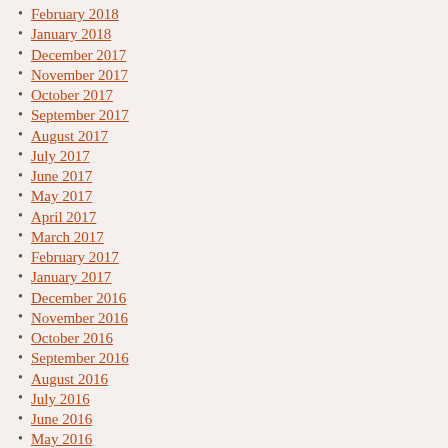February 2018
January 2018
December 2017
November 2017
October 2017
September 2017
August 2017
July 2017
June 2017
May 2017
April 2017
March 2017
February 2017
January 2017
December 2016
November 2016
October 2016
September 2016
August 2016
July 2016
June 2016
May 2016
April 2016
March 2016
February 2016